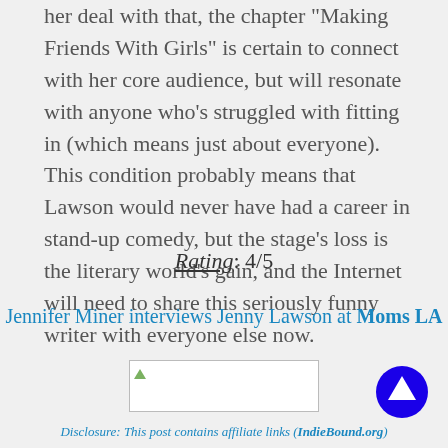her deal with that, the chapter 'Making Friends With Girls' is certain to connect with her core audience, but will resonate with anyone who's struggled with fitting in (which means just about everyone). This condition probably means that Lawson would never have had a career in stand-up comedy, but the stage's loss is the literary world's gain, and the Internet will need to share this seriously funny writer with everyone else now.
Rating: 4/5
Jennifer Miner interviews Jenny Lawson at Moms LA
[Figure (other): Broken image placeholder with small leaf icon]
[Figure (other): Blue circular up-arrow navigation button]
Disclosure: This post contains affiliate links (IndieBound.org)